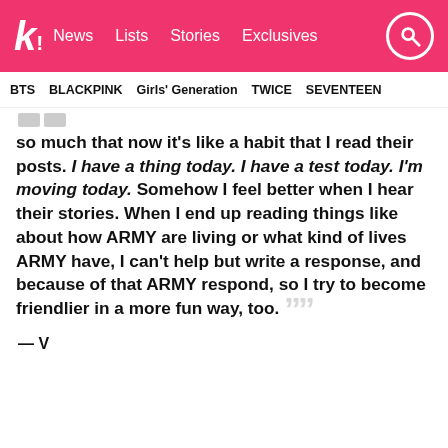k! News  Lists  Stories  Exclusives
BTS  BLACKPINK  Girls' Generation  TWICE  SEVENTEEN
so much that now it's like a habit that I read their posts. I have a thing today. I have a test today. I'm moving today. Somehow I feel better when I hear their stories. When I end up reading things like about how ARMY are living or what kind of lives ARMY have, I can't help but write a response, and because of that ARMY respond, so I try to become friendlier in a more fun way, too.
— V